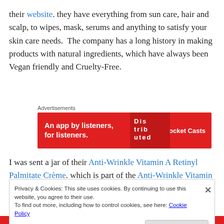their website. they have everything from sun care, hair and scalp, to wipes, mask, serums and anything to satisfy your skin care needs.  The company has a long history in making products with natural ingredients, which have always been Vegan friendly and Cruelty-Free.
[Figure (screenshot): Pocket Casts advertisement banner: red background with text 'An app by listeners, for listeners' and the Pocket Casts logo]
I was sent a jar of their Anti-Wrinkle Vitamin A Retinyl Palmitate Crème. which is part of the Anti-Wrinkle Vitamin
Privacy & Cookies: This site uses cookies. By continuing to use this website, you agree to their use.
To find out more, including how to control cookies, see here: Cookie Policy